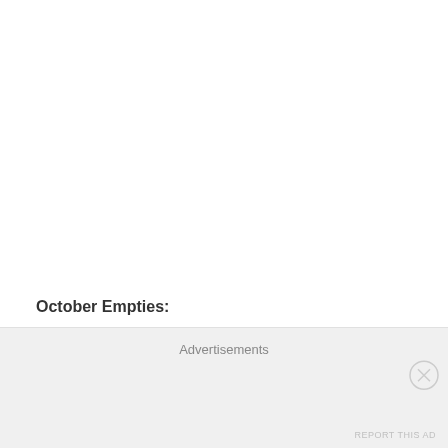October Empties:
Tatcha Luminous Deep Hydration Lifting Masks – still one of my favorite masks.
Advertisements
REPORT THIS AD